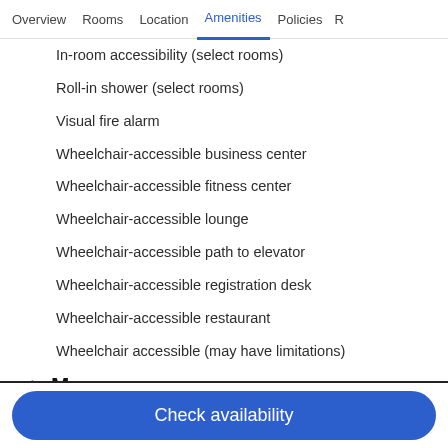Overview | Rooms | Location | Amenities | Policies | R
In-room accessibility (select rooms)
Roll-in shower (select rooms)
Visual fire alarm
Wheelchair-accessible business center
Wheelchair-accessible fitness center
Wheelchair-accessible lounge
Wheelchair-accessible path to elevator
Wheelchair-accessible registration desk
Wheelchair-accessible restaurant
Wheelchair accessible (may have limitations)
✓ More
Smoke-free property
TV in lobby
Check availability